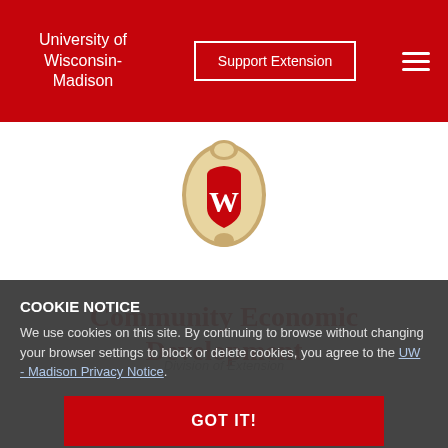University of Wisconsin-Madison | Support Extension
[Figure (logo): University of Wisconsin-Madison crest/seal logo — red W on shield inside an ornate gold oval frame]
Community Economic Development
Division of Extension
COOKIE NOTICE
We use cookies on this site. By continuing to browse without changing your browser settings to block or delete cookies, you agree to the UW - Madison Privacy Notice.
GOT IT!